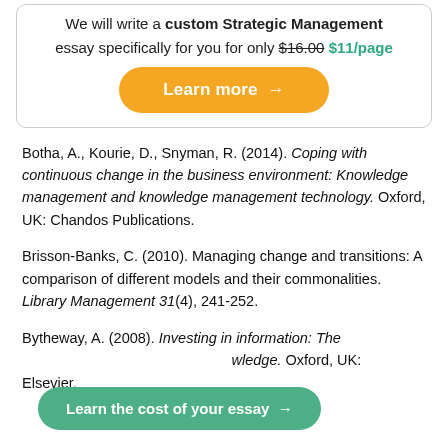[Figure (infographic): Ad box with orange rounded button: 'We will write a custom Strategic Management essay specifically for you for only $16.00 $11/page' and 'Learn more →' button]
Botha, A., Kourie, D., Snyman, R. (2014). Coping with continuous change in the business environment: Knowledge management and knowledge management technology. Oxford, UK: Chandos Publications.
Brisson-Banks, C. (2010). Managing change and transitions: A comparison of different models and their commonalities. Library Management 31(4), 241-252.
Bytheway, A. (2008). Investing in information: The [wledge]. Oxford, UK: Elsevier.
[Figure (infographic): Green rounded button: 'Learn the cost of your essay →']